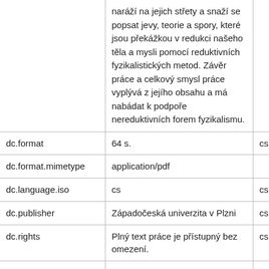|  |  |  |
| --- | --- | --- |
|  | naráží na jejich střety a snaží se popsat jevy, teorie a spory, které jsou překážkou v redukci našeho těla a mysli pomocí reduktivních fyzikalistických metod. Závěr práce a celkový smysl práce vyplývá z jejího obsahu a má nabádat k podpoře nereduktivních forem fyzikalismu. |  |
| dc.format | 64 s. | cs |
| dc.format.mimetype | application/pdf |  |
| dc.language.iso | cs | cs |
| dc.publisher | Západočeská univerzita v Plzni | cs |
| dc.rights | Plný text práce je přístupný bez omezení. | cs |
| dc.subject | problém mysli a těla | cs |
| dc.subject | reduktivní fyzikalismus | cs |